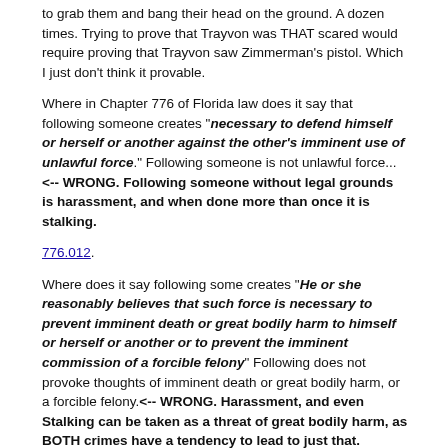to grab them and bang their head on the ground. A dozen times. Trying to prove that Trayvon was THAT scared would require proving that Trayvon saw Zimmerman's pistol. Which I just don't think it provable.
Where in Chapter 776 of Florida law does it say that following someone creates "necessary to defend himself or herself or another against the other's imminent use of unlawful force." Following someone is not unlawful force... <-- WRONG. Following someone without legal grounds is harassment, and when done more than once it is stalking.
776.012.
Where does it say following some creates "He or she reasonably believes that such force is necessary to prevent imminent death or great bodily harm to himself or herself or another or to prevent the imminent commission of a forcible felony" Following does not provoke thoughts of imminent death or great bodily harm, or a forcible felony.<-- WRONG. Harassment, and even Stalking can be taken as a threat of great bodily harm, as BOTH crimes have a tendency to lead to just that.